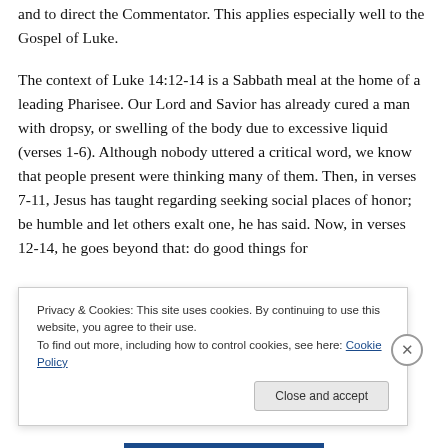and to direct the Commentator. This applies especially well to the Gospel of Luke.
The context of Luke 14:12-14 is a Sabbath meal at the home of a leading Pharisee. Our Lord and Savior has already cured a man with dropsy, or swelling of the body due to excessive liquid (verses 1-6). Although nobody uttered a critical word, we know that people present were thinking many of them. Then, in verses 7-11, Jesus has taught regarding seeking social places of honor; be humble and let others exalt one, he has said. Now, in verses 12-14, he goes beyond that: do good things for
Privacy & Cookies: This site uses cookies. By continuing to use this website, you agree to their use.
To find out more, including how to control cookies, see here: Cookie Policy
Close and accept